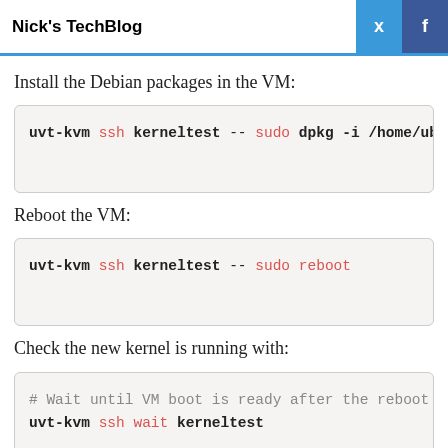Nick's TechBlog
Install the Debian packages in the VM:
uvt-kvm ssh kerneltest -- sudo dpkg -i /home/ub
Reboot the VM:
uvt-kvm ssh kerneltest -- sudo reboot
Check the new kernel is running with:
# Wait until VM boot is ready after the reboot
uvt-kvm ssh wait kerneltest